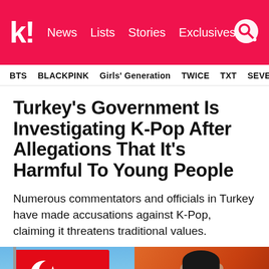k! News Lists Stories Exclusives
BTS  BLACKPINK  Girls' Generation  TWICE  TXT  SEVE
Turkey's Government Is Investigating K-Pop After Allegations That It's Harmful To Young People
Numerous commentators and officials in Turkey have made accusations against K-Pop, claiming it threatens traditional values.
[Figure (photo): Two photos side by side: left shows a Turkish flag on a pole against blue sky with clouds; right shows a K-pop artist (young man with dark hair) against an orange background.]